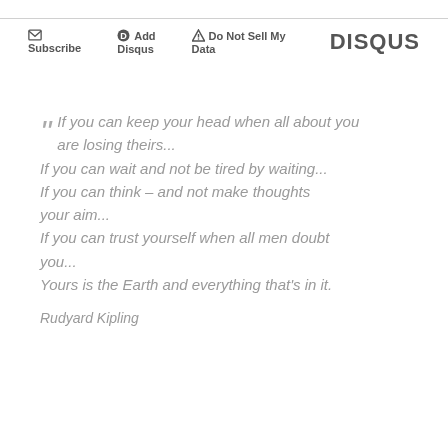Subscribe | Add Disqus | Do Not Sell My Data | DISQUS
“ If you can keep your head when all about you are losing theirs...
If you can wait and not be tired by waiting...
If you can think – and not make thoughts your aim...
If you can trust yourself when all men doubt you...
Yours is the Earth and everything that's in it.

Rudyard Kipling